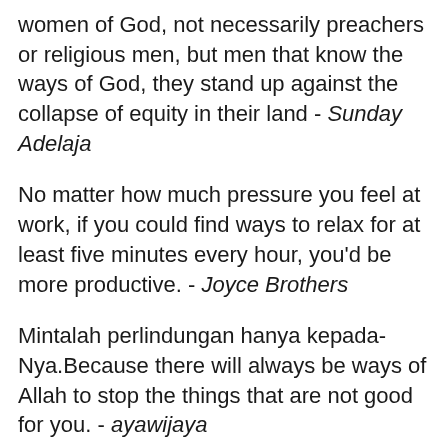women of God, not necessarily preachers or religious men, but men that know the ways of God, they stand up against the collapse of equity in their land - Sunday Adelaja
No matter how much pressure you feel at work, if you could find ways to relax for at least five minutes every hour, you'd be more productive. - Joyce Brothers
Mintalah perlindungan hanya kepada-Nya.Because there will always be ways of Allah to stop the things that are not good for you. - ayawijaya
Artistry, perhaps, is at its core being able to